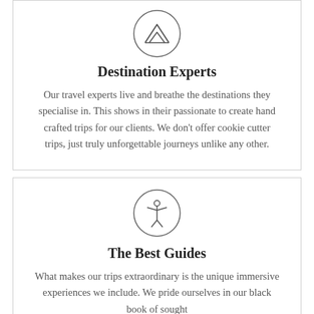[Figure (illustration): Circle icon with a mountain/tent outline sketch inside]
Destination Experts
Our travel experts live and breathe the destinations they specialise in. This shows in their passionate to create hand crafted trips for our clients. We don't offer cookie cutter trips, just truly unforgettable journeys unlike any other.
[Figure (illustration): Circle icon with a person figure with arms outstretched (guide/person icon)]
The Best Guides
What makes our trips extraordinary is the unique immersive experiences we include. We pride ourselves in our black book of sought